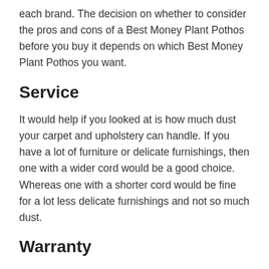each brand. The decision on whether to consider the pros and cons of a Best Money Plant Pothos before you buy it depends on which Best Money Plant Pothos you want.
Service
It would help if you looked at is how much dust your carpet and upholstery can handle. If you have a lot of furniture or delicate furnishings, then one with a wider cord would be a good choice. Whereas one with a shorter cord would be fine for a lot less delicate furnishings and not so much dust.
Warranty